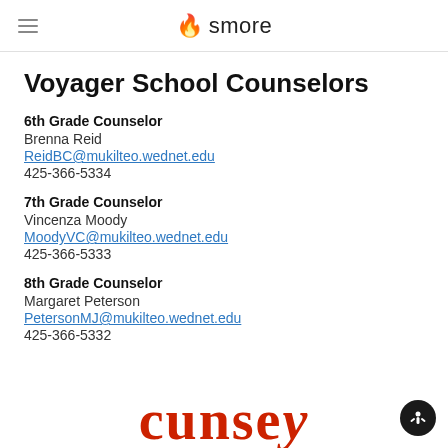smore
Voyager School Counselors
6th Grade Counselor
Brenna Reid
ReidBC@mukilteo.wednet.edu
425-366-5334
7th Grade Counselor
Vincenza Moody
MoodyVC@mukilteo.wednet.edu
425-366-5333
8th Grade Counselor
Margaret Peterson
PetersonMJ@mukilteo.wednet.edu
425-366-5332